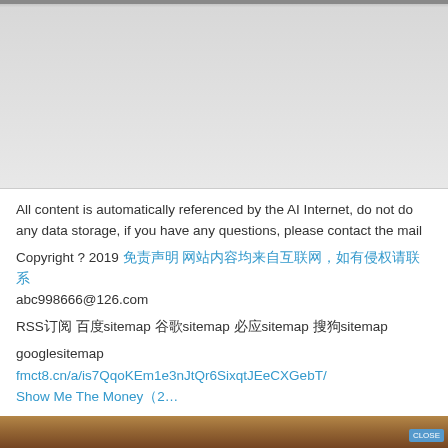[Figure (photo): Top portion of a web page screenshot showing a gray/white image area at the top]
All content is automatically referenced by the AI Internet, do not do any data storage, if you have any questions, please contact the mail
Copyright ? 2019 [Chinese characters] [Chinese characters] abc998666@126.com
RSS订阅 百度sitemap 谷歌sitemap 必应sitemap 搜狗sitemap googlesitemap
fmct8.cn/a/is7QqoKEm1e3nJtQr6SixqtJEeCXGebT/
Show Me The Money（2…
[Figure (photo): Bottom strip of a photo showing a person's face]